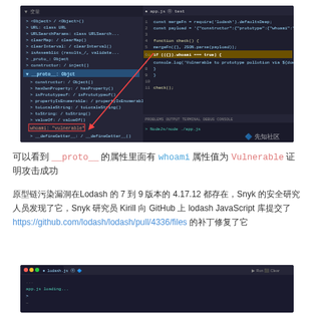[Figure (screenshot): VS Code debugger screenshot showing prototype pollution vulnerability with __proto__ object highlighted and 'whoami' property set to 'vulnerable', with arrow pointing to the property in the debugger panel]
可以看到 __proto__ 的属性里面有 whoami 属性值为 Vulnerable 证明攻击成功
原型链污染漏洞在Lodash 的 7 到 9 版本的 4.17.12 都存在，Snyk 的安全研究人员发现了它，Snyk 研究员 Kirill 向 GitHub 上 lodash JavaScript 库提交了 https://github.com/lodash/lodash/pull/4336/files 的补丁修复了它
[Figure (screenshot): Terminal/console screenshot showing lodash.js execution output]